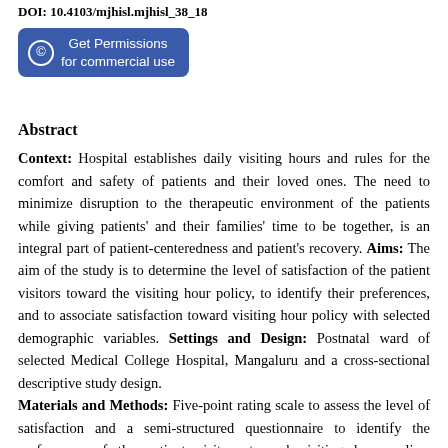DOI: 10.4103/mjhisl.mjhisl_38_18
[Figure (other): Blue rounded button with copyright symbol: Get Permissions for commercial use]
Abstract
Context: Hospital establishes daily visiting hours and rules for the comfort and safety of patients and their loved ones. The need to minimize disruption to the therapeutic environment of the patients while giving patients' and their families' time to be together, is an integral part of patient-centeredness and patient's recovery. Aims: The aim of the study is to determine the level of satisfaction of the patient visitors toward the visiting hour policy, to identify their preferences, and to associate satisfaction toward visiting hour policy with selected demographic variables. Settings and Design: Postnatal ward of selected Medical College Hospital, Mangaluru and a cross-sectional descriptive study design. Materials and Methods: Five-point rating scale to assess the level of satisfaction and a semi-structured questionnaire to identify the preferences of the patient visitors toward visiting hour policy. Statistical Analysis Used: Frequency, mean, standard deviation, mean percentage, and Chi-Square for the association. Results: